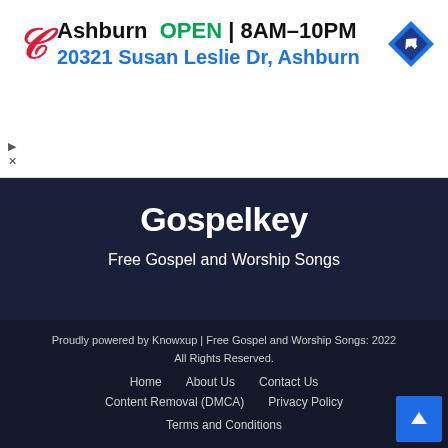[Figure (screenshot): Walgreens advertisement banner showing store location in Ashburn, OPEN 8AM-10PM, address 20321 Susan Leslie Dr, Ashburn, with navigation icon]
Gospelkey
Free Gospel and Worship Songs
Proudly powered by Knowxup | Free Gospel and Worship Songs: 2022 All Rights Reserved.
Home   About Us   Contact Us
Content Removal (DMCA)   Privacy Policy
Terms and Conditions